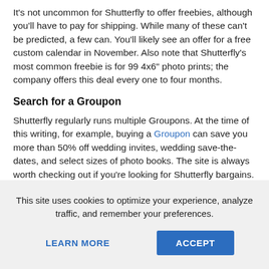It's not uncommon for Shutterfly to offer freebies, although you'll have to pay for shipping. While many of these can't be predicted, a few can. You'll likely see an offer for a free custom calendar in November. Also note that Shutterfly's most common freebie is for 99 4x6" photo prints; the company offers this deal every one to four months.
Search for a Groupon
Shutterfly regularly runs multiple Groupons. At the time of this writing, for example, buying a Groupon can save you more than 50% off wedding invites, wedding save-the-dates, and select sizes of photo books. The site is always worth checking out if you're looking for Shutterfly bargains.
Check Shutterfly's Own Coupons
Shutterfly knows many of its customers hunt deals, and helps out
This site uses cookies to optimize your experience, analyze traffic, and remember your preferences.